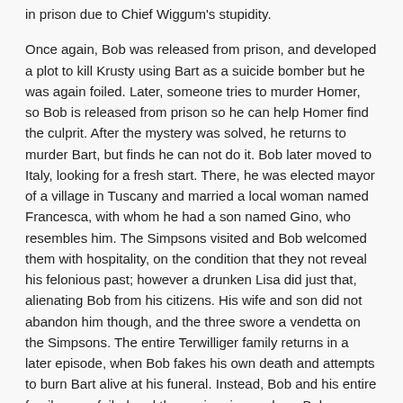in prison due to Chief Wiggum's stupidity.
Once again, Bob was released from prison, and developed a plot to kill Krusty using Bart as a suicide bomber but he was again foiled. Later, someone tries to murder Homer, so Bob is released from prison so he can help Homer find the culprit. After the mystery was solved, he returns to murder Bart, but finds he can not do it. Bob later moved to Italy, looking for a fresh start. There, he was elected mayor of a village in Tuscany and married a local woman named Francesca, with whom he had a son named Gino, who resembles him. The Simpsons visited and Bob welcomed them with hospitality, on the condition that they not reveal his felonious past; however a drunken Lisa did just that, alienating Bob from his citizens. His wife and son did not abandon him though, and the three swore a vendetta on the Simpsons. The entire Terwilliger family returns in a later episode, when Bob fakes his own death and attempts to burn Bart alive at his funeral. Instead, Bob and his entire family were foiled and thrown in prison, where Bob goes completely insane.
A running joke throughout his appearances after his arrest is that, when he first appears, Bart and Lisa scream "AAAHHH, SIDESHOW BOB!"
Other appearances
Alongside his appearances in the series, Sideshow Bob has made several appearances in other The Simpsons media. Kelsey Grammer recorded lines for Bob for The Simpsons Movie, but the scene in which he was to appear was cut. In The Simpsons Game, released in November 2007, Bob has a speaking cameo appearance at the end of the "Invasion of the Yokel-